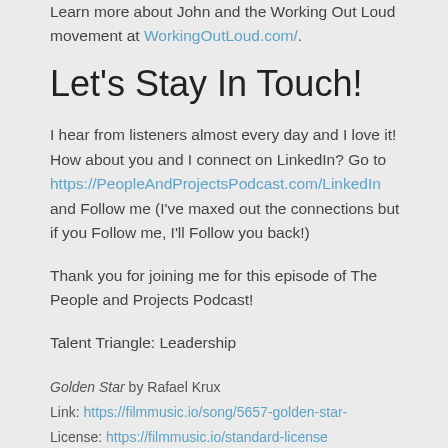Learn more about John and the Working Out Loud movement at WorkingOutLoud.com/.
Let's Stay In Touch!
I hear from listeners almost every day and I love it! How about you and I connect on LinkedIn? Go to https://PeopleAndProjectsPodcast.com/LinkedIn and Follow me (I've maxed out the connections but if you Follow me, I'll Follow you back!)
Thank you for joining me for this episode of The People and Projects Podcast!
Talent Triangle: Leadership
Golden Star by Rafael Krux
Link: https://filmmusic.io/song/5657-golden-star-
License: https://filmmusic.io/standard-license